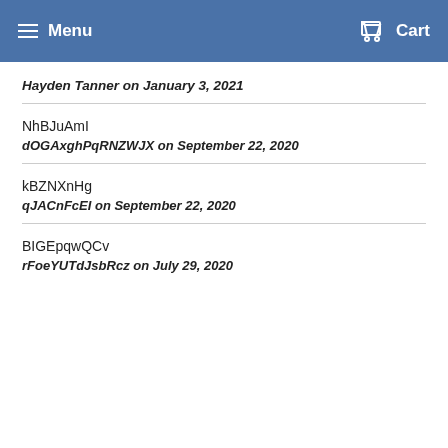Menu  Cart
Hayden Tanner on January 3, 2021
NhBJuAmI
dOGAxghPqRNZWJX on September 22, 2020
kBZNXnHg
qJACnFcEI on September 22, 2020
BIGEpqwQCv
rFoeYUTdJsbRcz on July 29, 2020